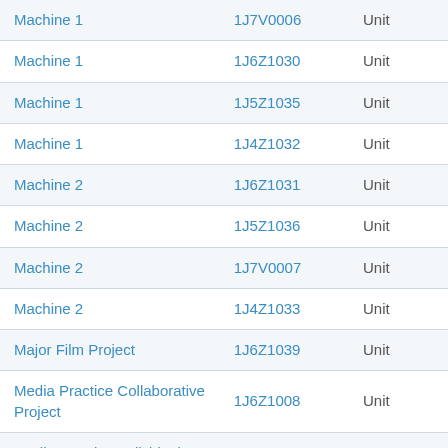| Machine 1 | 1J7V0006 | Unit |
| Machine 1 | 1J6Z1030 | Unit |
| Machine 1 | 1J5Z1035 | Unit |
| Machine 1 | 1J4Z1032 | Unit |
| Machine 2 | 1J6Z1031 | Unit |
| Machine 2 | 1J5Z1036 | Unit |
| Machine 2 | 1J7V0007 | Unit |
| Machine 2 | 1J4Z1033 | Unit |
| Major Film Project | 1J6Z1039 | Unit |
| Media Practice Collaborative Project | 1J6Z1008 | Unit |
| Media Practice Individual Project | 1J6Z1006 | Unit |